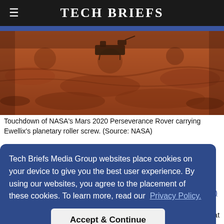Tech Briefs
[Figure (photo): Aerial/ground-level photo of Mars surface terrain in reddish-brown color, showing the touchdown of NASA's Mars 2020 Perseverance Rover carrying Ewellix's planetary roller screw.]
Touchdown of NASA's Mars 2020 Perseverance Rover carrying Ewellix's planetary roller screw. (Source: NASA)
Tech Briefs Media Group websites place cookies on your device to give you the best user experience. By using our websites, you agree to the placement of these cookies. To learn more, read our Privacy Policy.
Accept & Continue
…ctured SA's in Jet Propulsion Laboratory (JPL) in Pasadena, CA…component that could be robust enough…conditions of outer space and Mars, which can reach -80°C.